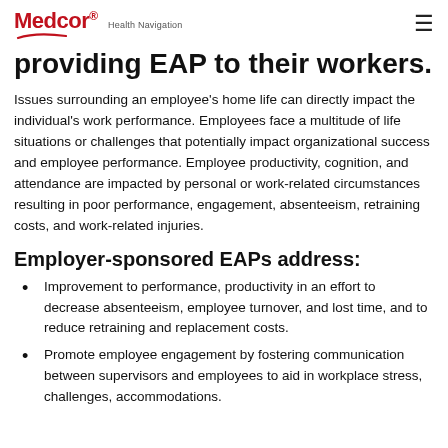Medcor® Health Navigation
providing EAP to their workers.
Issues surrounding an employee's home life can directly impact the individual's work performance. Employees face a multitude of life situations or challenges that potentially impact organizational success and employee performance. Employee productivity, cognition, and attendance are impacted by personal or work-related circumstances resulting in poor performance, engagement, absenteeism, retraining costs, and work-related injuries.
Employer-sponsored EAPs address:
Improvement to performance, productivity in an effort to decrease absenteeism, employee turnover, and lost time, and to reduce retraining and replacement costs.
Promote employee engagement by fostering communication between supervisors and employees to aid in workplace stress, challenges, accommodations.